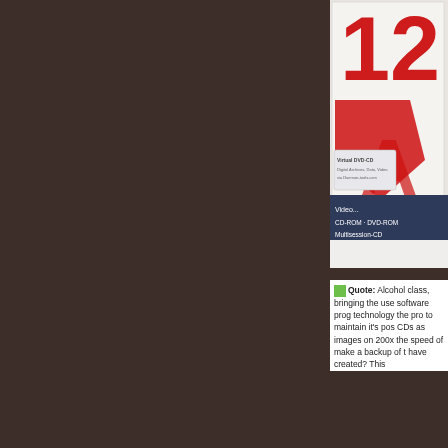[Figure (photo): Partially visible software box/package for Alcohol 120% showing red large numerals '12' and a red stylized letter, with a dark blue band reading 'Video...', 'CD-ROM - DVD-ROM', 'Multisession-CD', and a smaller inset card labeled 'Virtual DVD-CD' with small text about digital archives, data, video.]
Quote: Alcohol ... class, bringing the ... use software prog... technology the pro... to maintain it's pos... CDs as images on ... 200x the speed of ... make a backup of t... have created? This...